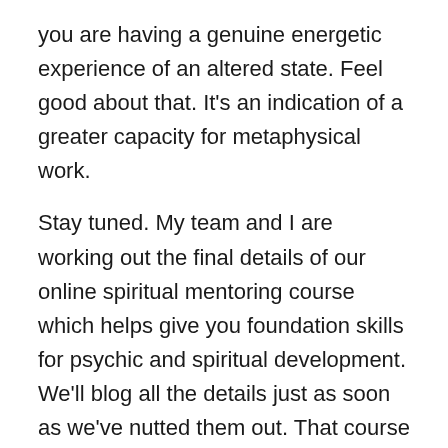you are having a genuine energetic experience of an altered state. Feel good about that. It's an indication of a greater capacity for metaphysical work.
Stay tuned. My team and I are working out the final details of our online spiritual mentoring course which helps give you foundation skills for psychic and spiritual development. We'll blog all the details just as soon as we've nutted them out. That course will be useful for you. And next year I'll be launching my new online Academy so that there will be somewhere for you to go to learn about your abilities and how to use them, and so you can meet and hang out with other like-minded people.
Until then, keep meditating. It's one of the best things you can do for stabilising and expanding your metaphysical gifts.